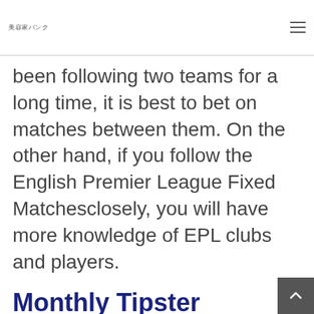美容家バンク
been following two teams for a long time, it is best to bet on matches between them. On the other hand, if you follow the English Premier League Fixed Matchesclosely, you will have more knowledge of EPL clubs and players.
Monthly Tipster Leaderboard
As well as visiting our football tips pages on the web, whether on your desktop or mobile, you can get access to all our predictions via the OLBG tips app. If w…